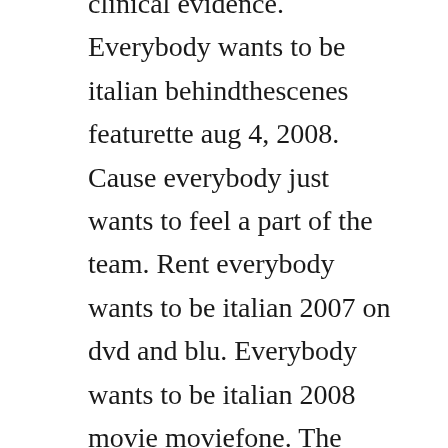clinical evidence. Everybody wants to be italian behindthescenes featurette aug 4, 2008. Cause everybody just wants to feel a part of the team. Rent everybody wants to be italian 2007 on dvd and blu. Everybody wants to be italian 2008 movie moviefone. The original version of i want it that way may change. Classic definition and meaning collins english dictionary. Please consider whitelisting or subscribing to eliminate ads entirely and help support.

The lady in the video is not the actual singer, she is lipsyncing superbest album out no. The